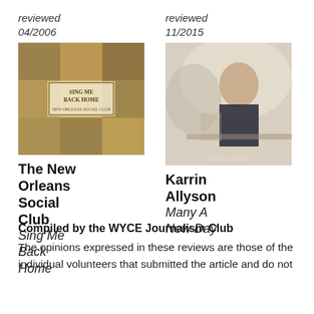reviewed
reviewed
04/2006
11/2015
[Figure (photo): Album cover for The New Orleans Social Club - Sing Me Back Home]
[Figure (photo): Album cover for Karrin Allyson - Many A New Day]
The New Orleans Social Club
Sing Me Back Home
Karrin Allyson
Many A New Day
Compiled by the WYCE Journalism Club
The opinions expressed in these reviews are those of the individual volunteers that submitted the article and do not